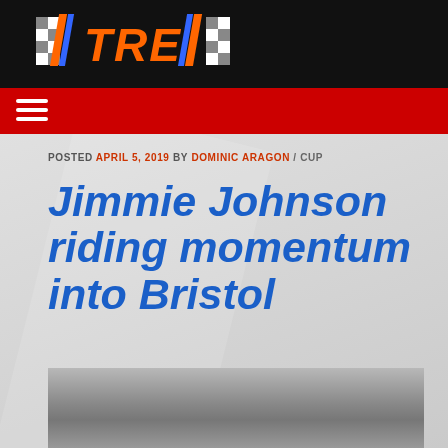TRE
POSTED APRIL 5, 2019 BY DOMINIC ARAGON / CUP
Jimmie Johnson riding momentum into Bristol
[Figure (photo): NASCAR race car on track, grayscale photo]